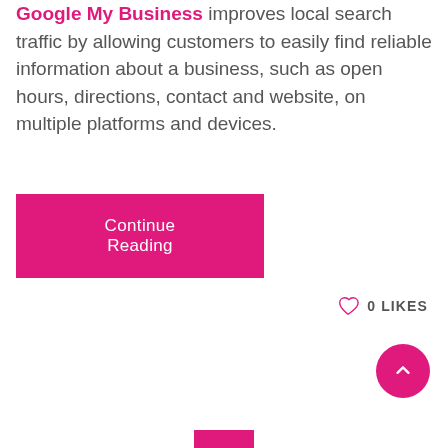Google My Business improves local search traffic by allowing customers to easily find reliable information about a business, such as open hours, directions, contact and website, on multiple platforms and devices.
Continue Reading
0 LIKES